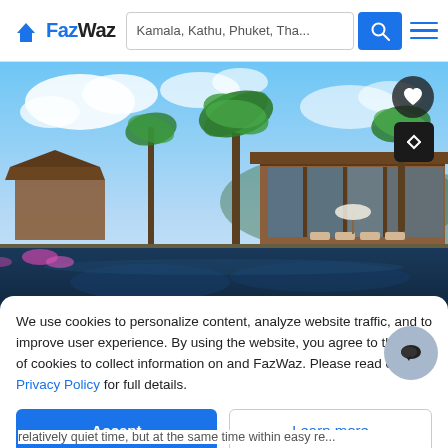FazWaz — Kamala, Kathu, Phuket, Tha...
[Figure (photo): Luxury tropical villa with swimming pool, palm trees, and bungalow-style architecture in Phuket, Thailand]
We use cookies to personalize content, analyze website traffic, and to improve user experience. By using the website, you agree to the use of cookies to collect information on and FazWaz. Please read our Privacy Policy for full details.
Accept
Learn more
relatively quiet time, but at the same time within easy re...